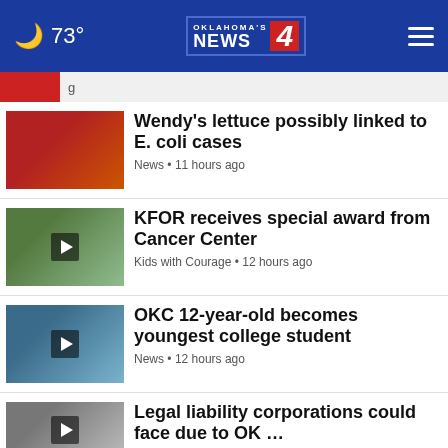73° Oklahoma's News 4
Wendy's lettuce possibly linked to E. coli cases — News • 11 hours ago
KFOR receives special award from Cancer Center — Kids with Courage • 12 hours ago
OKC 12-year-old becomes youngest college student — News • 12 hours ago
Legal liability corporations could face due to OK … — News • 12 hours ago
Oklahoma's oldest wood carousel alive again
debunked
Your One-Stop Summer Pet Shop — Petco